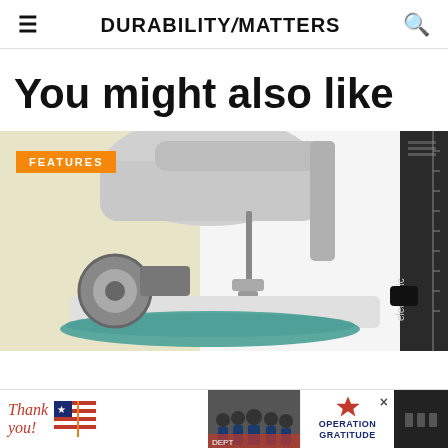DURABILITYMATTERS
You might also like
[Figure (photo): Close-up photo of an industrial sewing machine pressed against a white background, with a teal fabric piece visible at bottom and an 'electronic' branded device on the far right. An orange 'FEATURES' badge overlays the top-left corner.]
[Figure (photo): Advertisement banner: 'Thank you!' text with illustrated pencil and American flag graphic on the left, a photo of firefighters/military personnel in the center, and 'OPERATION GRATITUDE' logo on the right with a close button (×).]